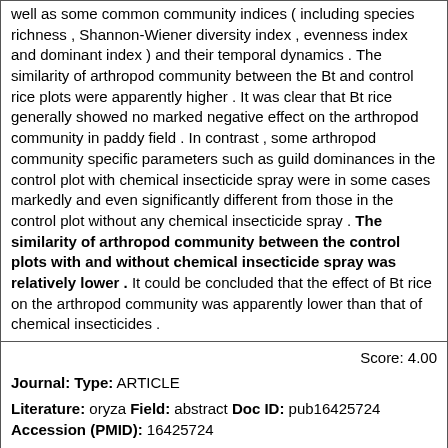well as some common community indices ( including species richness , Shannon-Wiener diversity index , evenness index and dominant index ) and their temporal dynamics . The similarity of arthropod community between the Bt and control rice plots were apparently higher . It was clear that Bt rice generally showed no marked negative effect on the arthropod community in paddy field . In contrast , some arthropod community specific parameters such as guild dominances in the control plot with chemical insecticide spray were in some cases markedly and even significantly different from those in the control plot without any chemical insecticide spray . The similarity of arthropod community between the control plots with and without chemical insecticide spray was relatively lower . It could be concluded that the effect of Bt rice on the arthropod community was apparently lower than that of chemical insecticides .
Score: 4.00
Journal: Type: ARTICLE
Literature: oryza Field: abstract Doc ID: pub16425724 Accession (PMID): 16425724
Abstract: The use of insecticides in households and in agriculture has been incriminated in the emergence of insecticide resistance in insect vectors . For farming staff , the emergence of vector resistance is due to indoors spray of insecticides using aerosols and other low quality products in rural and urban settings against mosquitoes . On the other hand , public health specialists believe that the phenomenon of resistance could be due to massive use of insecticides in agriculture for field pests control . In Turkey , the implication of agricultural use of pesticides in the selection of vector resistance is clearly established . This study was framed to identify potential practices favouring the emergence of insecticide resistance in the Republic of Benin . Interviews